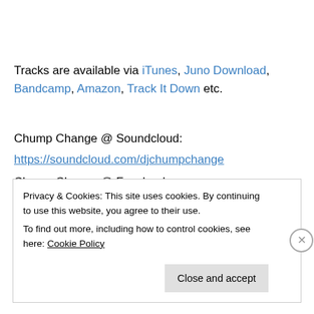Tracks are available via iTunes, Juno Download, Bandcamp, Amazon, Track It Down etc.
Chump Change @ Soundcloud:
https://soundcloud.com/djchumpchange
Chump Change @ Facebook:
https://www.facebook.com/djchumpchange
Chump Change @ Twitter:
Privacy & Cookies: This site uses cookies. By continuing to use this website, you agree to their use. To find out more, including how to control cookies, see here: Cookie Policy
Close and accept